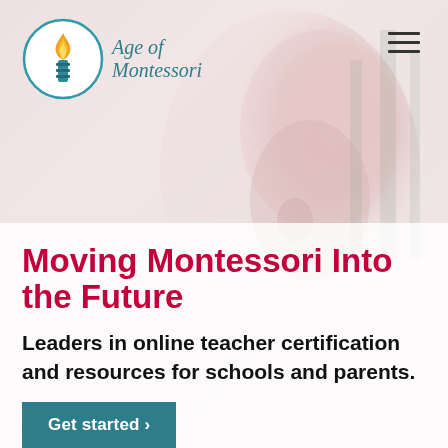[Figure (logo): Age of Montessori logo: circular border with a torch/flame icon in orange-yellow gradient on teal base, beside italic serif text 'Age of Montessori' in teal]
[Figure (photo): Faded/washed-out background photo of a child's face in profile looking upward, pinkish-grey tones]
Moving Montessori Into the Future
Leaders in online teacher certification and resources for schools and parents.
Get started >